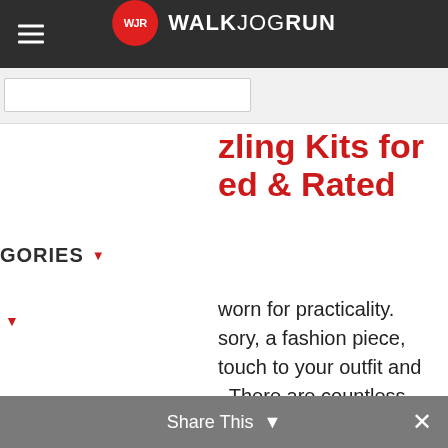WALKJOGRUN
zling Kits for ed & Rated
GORIES ▾
worn for practicality. sory, a fashion piece, touch to your outfit and . There are countless n it comes to footwear, customizing your own pricey bedazzled shoes, irs and make them
Share This